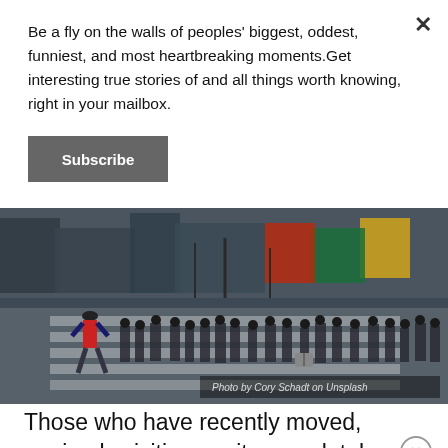Be a fly on the walls of peoples' biggest, oddest, funniest, and most heartbreaking moments.Get interesting true stories of and all things worth knowing, right in your mailbox.
Subscribe
[Figure (photo): Busy urban pedestrian crosswalk with many people crossing the street in a city, billboard-lined buildings visible in background. Photo credit overlay: 'Photo by Cory Schadt on Unsplash']
Those who have recently moved, or simply visiting, a city completely new to them often feel unsafe and unsure in their new surroundings.